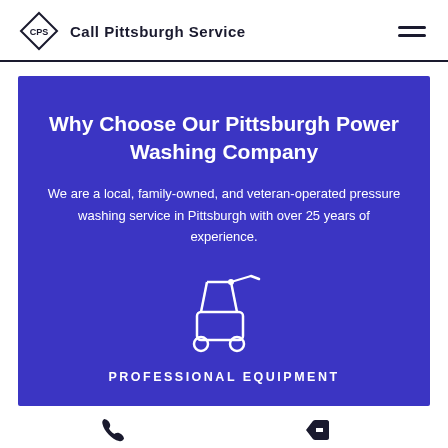CPS Call Pittsburgh Service
Why Choose Our Pittsburgh Power Washing Company
We are a local, family-owned, and veteran-operated pressure washing service in Pittsburgh with over 25 years of experience.
[Figure (illustration): White line icon of a pressure washer machine on wheels with a hose and wand]
PROFESSIONAL EQUIPMENT
Call / Text   Fast Free Quote